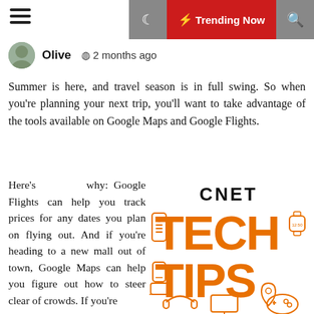Olive · 2 months ago
Summer is here, and travel season is in full swing. So when you're planning your next trip, you'll want to take advantage of the tools available on Google Maps and Google Flights.
Here's why: Google Flights can help you track prices for any dates you plan on flying out. And if you're heading to a new mall out of town, Google Maps can help you figure out how to steer clear of crowds. If you're
[Figure (logo): CNET Tech Tips logo with orange bold TECH TIPS text and tech device icons (remote, smartwatch, phone, headphones, monitor, gamepad, location pin)]